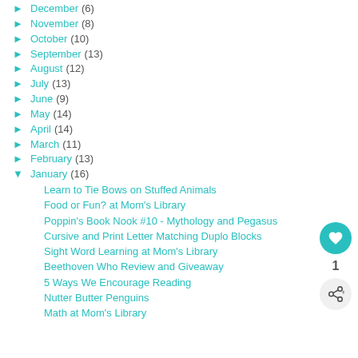► December (6)
► November (8)
► October (10)
► September (13)
► August (12)
► July (13)
► June (9)
► May (14)
► April (14)
► March (11)
► February (13)
▼ January (16)
Learn to Tie Bows on Stuffed Animals
Food or Fun? at Mom's Library
Poppin's Book Nook #10 - Mythology and Pegasus
Cursive and Print Letter Matching Duplo Blocks
Sight Word Learning at Mom's Library
Beethoven Who Review and Giveaway
5 Ways We Encourage Reading
Nutter Butter Penguins
Math at Mom's Library